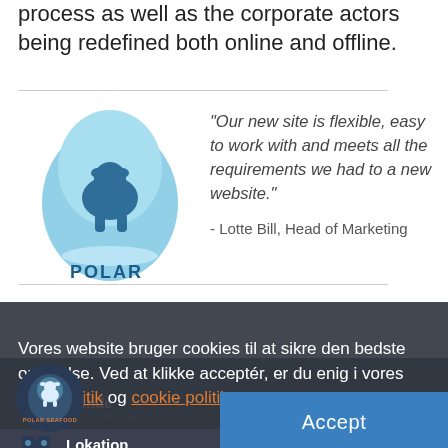process as well as the corporate actors being redefined both online and offline.
[Figure (logo): Polar Seafood logo: a polar bear on an iceberg inside a teardrop shape, blue and white, with text 'POLAR' below]
"Our new site is flexible, easy to work with and meets all the requirements we had to a new website."
- Lotte Bill, Head of Marketing
Vores website bruger cookies til at sikre den bedste oplevelse. Ved at klikke acceptér, er du enig i vores privatpolitik og cookie politik.
[Figure (logo): Polar Seafood circular logo with bear icon and text POLAR SEAFOOD]
Kunde
Polar Seafood
Lokation